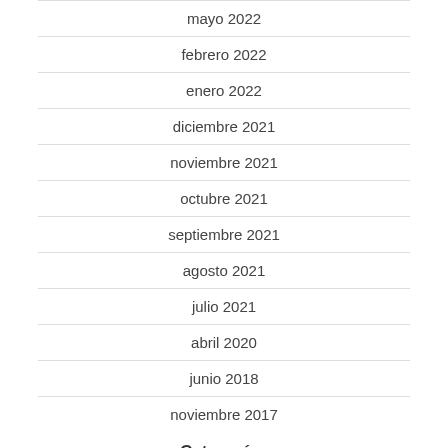mayo 2022
febrero 2022
enero 2022
diciembre 2021
noviembre 2021
octubre 2021
septiembre 2021
agosto 2021
julio 2021
abril 2020
junio 2018
noviembre 2017
Categorías